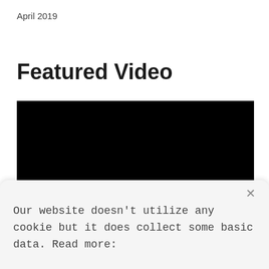April 2019
Featured Video
[Figure (other): Black video player placeholder rectangle]
Our website doesn't utilize any cookie but it does collect some basic data. Read more: